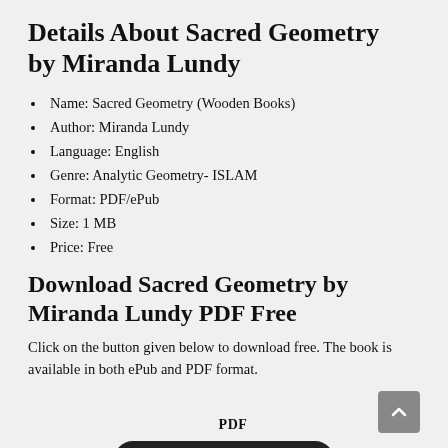Details About Sacred Geometry by Miranda Lundy
Name: Sacred Geometry (Wooden Books)
Author:  Miranda Lundy
Language: English
Genre: Analytic Geometry- ISLAM
Format: PDF/ePub
Size: 1 MB
Price: Free
Download Sacred Geometry by Miranda Lundy PDF Free
Click on the button given below to download free. The book is available in both ePub and PDF format.
PDF